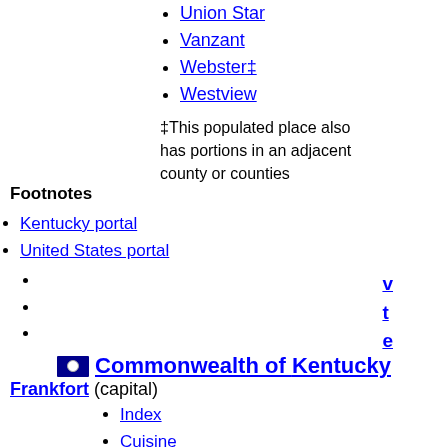Union Star
Vanzant
Webster‡
Westview
Footnotes ‡This populated place also has portions in an adjacent county or counties
Kentucky portal
United States portal
v
t
e
Commonwealth of Kentucky
Frankfort (capital)
Index
Cuisine
Environment
Climate change
Geography
History